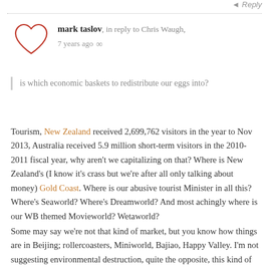◄ Reply
[Figure (illustration): Red heart outline avatar icon for user mark taslov]
mark taslov, in reply to Chris Waugh, 7 years ago ∞
is which economic baskets to redistribute our eggs into?
Tourism, New Zealand received 2,699,762 visitors in the year to Nov 2013, Australia received 5.9 million short-term visitors in the 2010-2011 fiscal year, why aren't we capitalizing on that? Where is New Zealand's (I know it's crass but we're after all only talking about money) Gold Coast. Where is our abusive tourist Minister in all this? Where's Seaworld? Where's Dreamworld? And most achingly where is our WB themed Movieworld? Wetaworld?
Some may say we're not that kind of market, but you know how things are in Beijing; rollercoasters, Miniworld, Bajiao, Happy Valley. I'm not suggesting environmental destruction, quite the opposite, this kind of thing can be quite